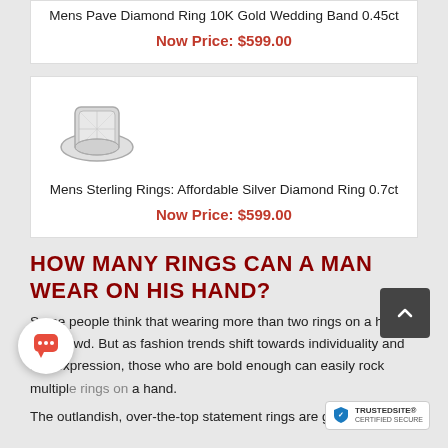Mens Pave Diamond Ring 10K Gold Wedding Band 0.45ct
Now Price: $599.00
[Figure (photo): Photo of a men's sterling silver diamond ring with square face]
Mens Sterling Rings: Affordable Silver Diamond Ring 0.7ct
Now Price: $599.00
HOW MANY RINGS CAN A MAN WEAR ON HIS HAND?
Some people think that wearing more than two rings on a hand is a crowd. But as fashion trends shift towards individuality and self-expression, those who are bold enough can easily rock multiple rings on a hand.
The outlandish, over-the-top statement rings are good c…